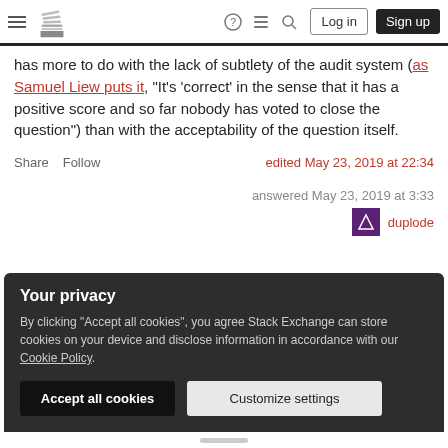Stack Exchange navigation bar with hamburger menu, logo, help, chat, search, Log in and Sign up buttons
has more to do with the lack of subtlety of the audit system (as Samuel Liew puts it, "It's 'correct' in the sense that it has a positive score and so far nobody has voted to close the question") than with the acceptability of the question itself.
Share   Follow   edited May 23, 2019 at 22:34
answered May 23, 2019 at 3:33
duplode
Your privacy
By clicking "Accept all cookies", you agree Stack Exchange can store cookies on your device and disclose information in accordance with our Cookie Policy.